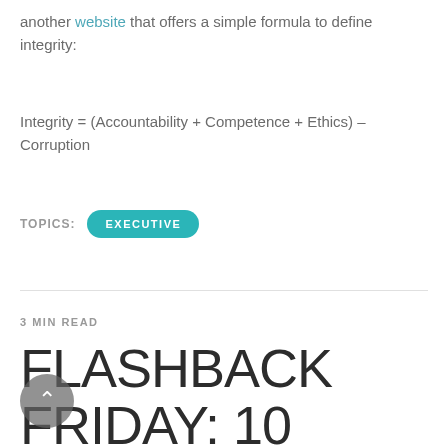another website that offers a simple formula to define integrity:
TOPICS: EXECUTIVE
3 MIN READ
FLASHBACK FRIDAY: 10 QUALITIES OF A